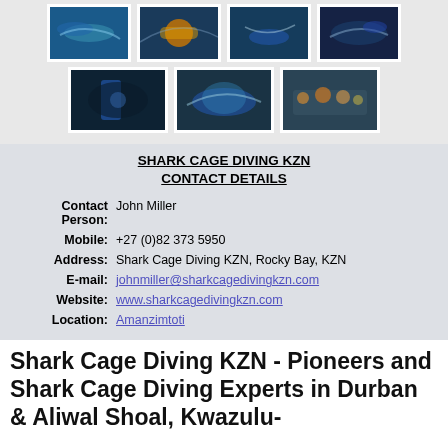[Figure (photo): Gallery of 7 shark diving photos arranged in two rows — top row has 4 images, bottom row has 3 images]
SHARK CAGE DIVING KZN CONTACT DETAILS
| Contact Person: | John Miller |
| Mobile: | +27 (0)82 373 5950 |
| Address: | Shark Cage Diving KZN, Rocky Bay, KZN |
| E-mail: | johnmiller@sharkcagedivingkzn.com |
| Website: | www.sharkcagedivingkzn.com |
| Location: | Amanzimtoti |
Shark Cage Diving KZN - Pioneers and Shark Cage Diving Experts in Durban & Aliwal Shoal, Kwazulu-